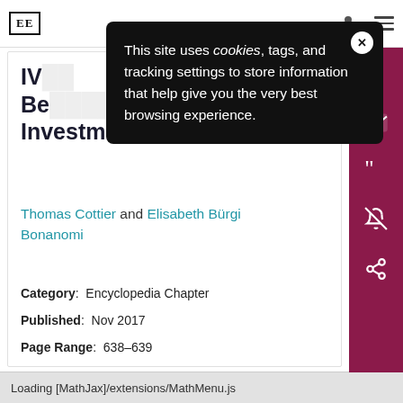[Figure (screenshot): Website navigation bar with EE logo, person icon, and hamburger menu icon]
[Figure (infographic): Cookie consent popup overlay with dark background, close button (X), and text: 'This site uses cookies, tags, and tracking settings to store information that help give you the very best browsing experience.']
IVF ... Be... Investment
Thomas Cottier and Elisabeth Bürgi Bonanomi
Category: Encyclopedia Chapter
Published: Nov 2017
Page Range: 638-639
DOI: https://doi.org/10.4337/9781784713546.320
Loading [MathJax]/extensions/MathMenu.js